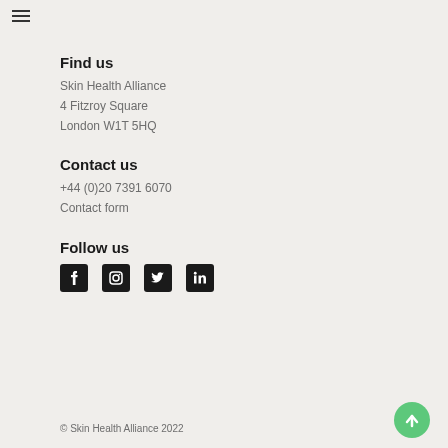Find us
Skin Health Alliance
4 Fitzroy Square
London W1T 5HQ
Contact us
+44 (0)20 7391 6070
Contact form
Follow us
[Figure (infographic): Social media icons: Facebook, Instagram, Twitter, LinkedIn]
© Skin Health Alliance 2022